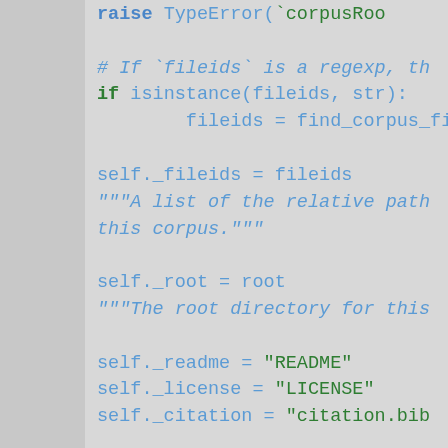raise TypeError(`corpusRoo... # If `fileids` is a regexp, th... if isinstance(fileids, str): fileids = find_corpus_file... self._fileids = fileids """A list of the relative path... this corpus.""" self._root = root """The root directory for this... self._readme = "README" self._license = "LICENSE" self._citation = "citation.bib...